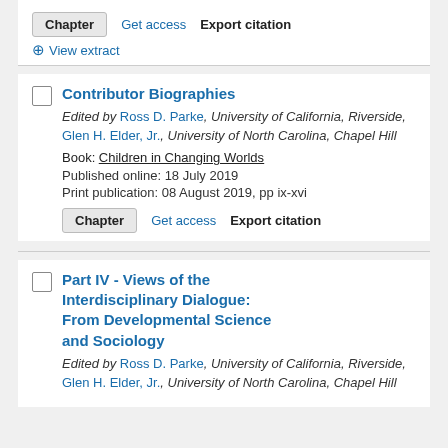Chapter | Get access | Export citation | View extract
Contributor Biographies. Edited by Ross D. Parke, University of California, Riverside, Glen H. Elder, Jr., University of North Carolina, Chapel Hill. Book: Children in Changing Worlds. Published online: 18 July 2019. Print publication: 08 August 2019, pp ix-xvi. Chapter | Get access | Export citation
Part IV - Views of the Interdisciplinary Dialogue: From Developmental Science and Sociology. Edited by Ross D. Parke, University of California, Riverside, Glen H. Elder, Jr., University of North Carolina, Chapel Hill